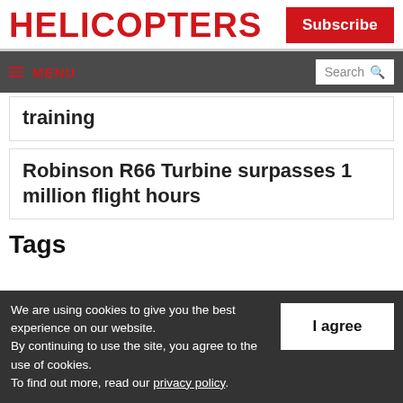HELICOPTERS
Subscribe
≡ MENU   Search 🔍
training
Robinson R66 Turbine surpasses 1 million flight hours
Tags
We are using cookies to give you the best experience on our website. By continuing to use the site, you agree to the use of cookies. To find out more, read our privacy policy.
I agree